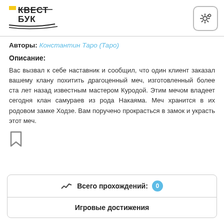КВЕСТ БУК
Авторы: Константин Таро (Таро)
Описание:
Вас вызвал к себе наставник и сообщил, что один клиент заказал вашему клану похитить драгоценный меч, изготовленный более ста лет назад известным мастером Куродой. Этим мечом владеет сегодня клан самураев из рода Накаяма. Меч хранится в их родовом замке Ходзе. Вам поручено прокрасться в замок и украсть этот меч.
Всего прохождений: 0
Игровые достижения